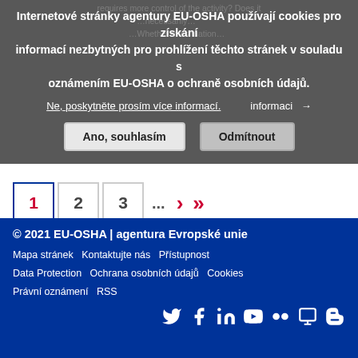Internetové stránky agentury EU-OSHA používají cookies pro získání informací nezbytných pro prohlížení těchto stránek v souladu s oznámením EU-OSHA o ochraně osobních údajů.
Ne, poskytněte prosím více informací.
Ano, souhlasím
Odmítnout
1  2  3  ...  >  >>
© 2021 EU-OSHA | agentura Evropské unie
Mapa stránek   Kontaktujte nás   Přístupnost
Data Protection   Ochrana osobních údajů   Cookies
Právní oznámení   RSS